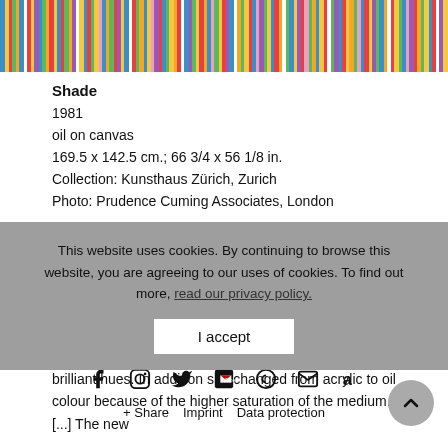[Figure (illustration): Colorful vertical stripes painting (Shade, 1981) — multicolored narrow vertical bars in blue, yellow, red, green, pink, orange, white and other hues across full width]
Shade
1981
oil on canvas
169.5 x 142.5 cm.; 66 3/4 x 56 1/8 in.
Collection: Kunsthaus Zürich, Zurich
Photo: Prudence Cuming Associates, London
This website uses cookies. By continuing to browse this website, you are agreeing to our uses of cookies. To find out more, read our privacy policy.
I accept
brilliant hues. In addition she changed from acrylic to oil colour because of the higher saturation of the medium. [...] The new
+ Share   Imprint   Data protection